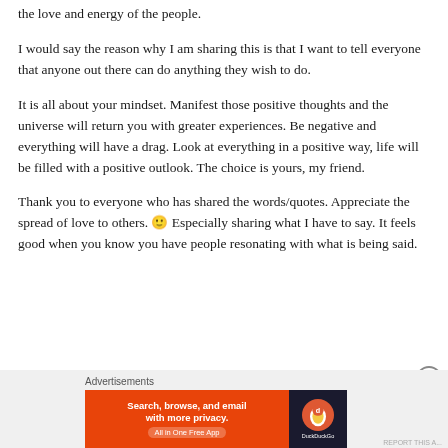the love and energy of the people.
I would say the reason why I am sharing this is that I want to tell everyone that anyone out there can do anything they wish to do.
It is all about your mindset. Manifest those positive thoughts and the universe will return you with greater experiences. Be negative and everything will have a drag. Look at everything in a positive way, life will be filled with a positive outlook. The choice is yours, my friend.
Thank you to everyone who has shared the words/quotes. Appreciate the spread of love to others. 🙂 Especially sharing what I have to say. It feels good when you know you have people resonating with what is being said.
[Figure (screenshot): DuckDuckGo advertisement banner: orange left panel with text 'Search, browse, and email with more privacy. All in One Free App' and dark right panel with DuckDuckGo logo and name.]